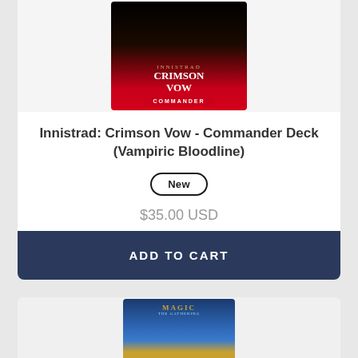[Figure (photo): Innistrad: Crimson Vow Commander Deck (Vampiric Bloodline) product box image]
Innistrad: Crimson Vow - Commander Deck (Vampiric Bloodline)
New
$35.00 USD
ADD TO CART
[Figure (photo): Magic: The Gathering product image, partially visible at bottom of page]